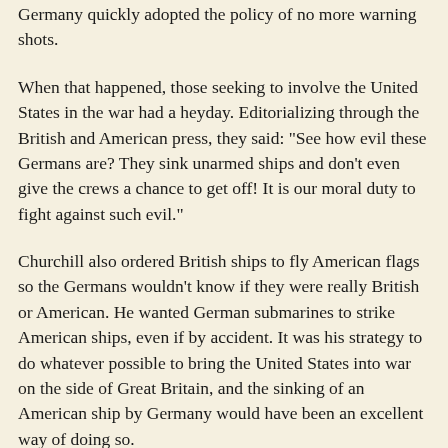Germany quickly adopted the policy of no more warning shots.
When that happened, those seeking to involve the United States in the war had a heyday. Editorializing through the British and American press, they said: "See how evil these Germans are? They sink unarmed ships and don't even give the crews a chance to get off! It is our moral duty to fight against such evil."
Churchill also ordered British ships to fly American flags so the Germans wouldn't know if they were really British or American. He wanted German submarines to strike American ships, even if by accident. It was his strategy to do whatever possible to bring the United States into war on the side of Great Britain, and the sinking of an American ship by Germany would have been an excellent way of doing so.
There was plenty of goading from the America side as well. The United States government consistently violated its own neutrality laws by allowing war materials to be sent to Britain and France. Munitions and all kinds of military-related supplies were blatantly shipped on a regular basis. In fact, the